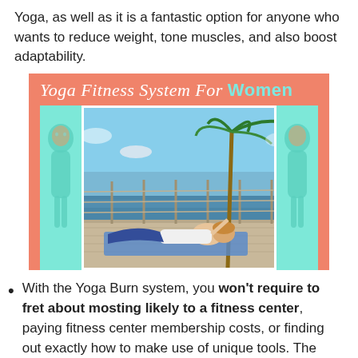Yoga, as well as it is a fantastic option for anyone who wants to reduce weight, tone muscles, and also boost adaptability.
[Figure (illustration): Yoga Fitness System For Women promotional banner with salmon/coral background, italic white title text reading 'Yoga Fitness System For Women', a central photo of a woman doing yoga lying on a mat outdoors on a deck by the water with a palm tree, flanked by teal side panels with person images.]
With the Yoga Burn system, you won't require to fret about mosting likely to a fitness center, paying fitness center membership costs, or finding out exactly how to make use of unique tools. The entire technique happens on a yoga mat, as well as since it is designed